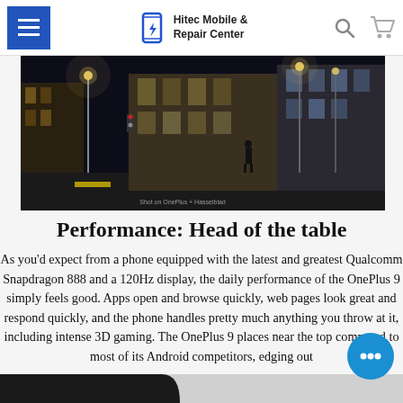Hitec Mobile & Repair Center — navigation header with hamburger menu, logo, search and cart icons
[Figure (photo): Night street scene with city intersection, street lights, buildings, a lone pedestrian. Watermark reads 'Shot on OnePlus + Hasselblad'.]
Performance: Head of the table
As you'd expect from a phone equipped with the latest and greatest Qualcomm Snapdragon 888 and a 120Hz display, the daily performance of the OnePlus 9 simply feels good. Apps open and browse quickly, web pages look great and respond quickly, and the phone handles pretty much anything you throw at it, including intense 3D gaming. The OnePlus 9 places near the top compared to most of its Android competitors, edging out
[Figure (photo): Bottom strip showing a dark device (phone) partially visible against a grey background.]